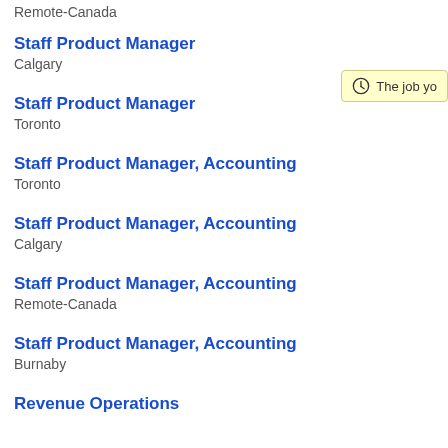Remote-Canada
Staff Product Manager
Calgary
Staff Product Manager
Toronto
Staff Product Manager, Accounting
Toronto
Staff Product Manager, Accounting
Calgary
Staff Product Manager, Accounting
Remote-Canada
Staff Product Manager, Accounting
Burnaby
Revenue Operations